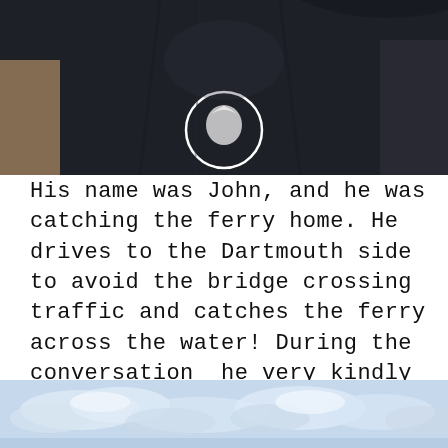[Figure (photo): Close-up photo of a person wearing a dark navy/black t-shirt with a circular logo on the chest, cropped to show torso only]
His name was John, and he was catching the ferry home. He drives to the Dartmouth side to avoid the bridge crossing traffic and catches the ferry across the water! During the conversation  he very kindly offered me a lift to the carport where my bike was being kept!
[Figure (photo): Partial photo showing a sky with clouds, appearing to be taken near water, visible only at the bottom of the page]